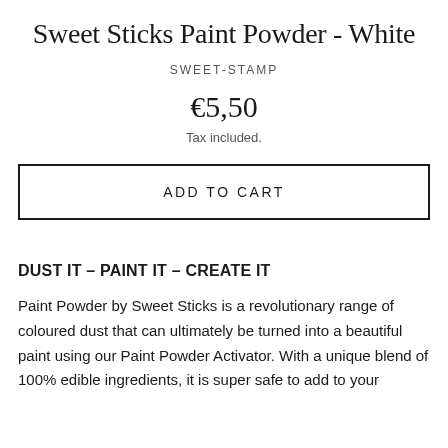Sweet Sticks Paint Powder - White
SWEET-STAMP
€5,50
Tax included.
ADD TO CART
DUST IT – PAINT IT – CREATE IT
Paint Powder by Sweet Sticks is a revolutionary range of coloured dust that can ultimately be turned into a beautiful paint using our Paint Powder Activator. With a unique blend of 100% edible ingredients, it is super safe to add to your